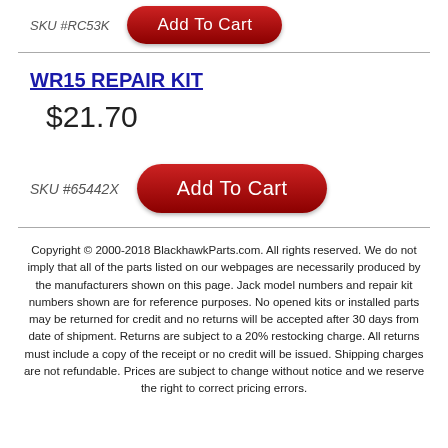SKU #RC53K
Add To Cart
WR15 REPAIR KIT
$21.70
SKU #65442X
Add To Cart
Copyright © 2000-2018 BlackhawkParts.com. All rights reserved. We do not imply that all of the parts listed on our webpages are necessarily produced by the manufacturers shown on this page. Jack model numbers and repair kit numbers shown are for reference purposes. No opened kits or installed parts may be returned for credit and no returns will be accepted after 30 days from date of shipment. Returns are subject to a 20% restocking charge. All returns must include a copy of the receipt or no credit will be issued. Shipping charges are not refundable. Prices are subject to change without notice and we reserve the right to correct pricing errors.